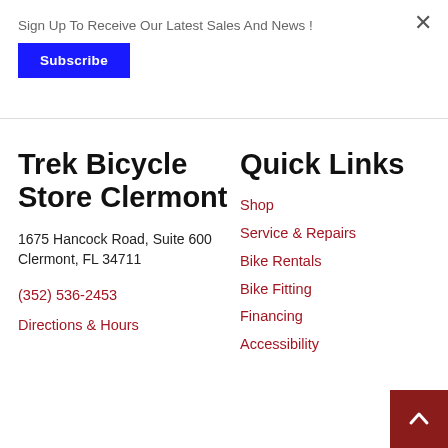Sign Up To Receive Our Latest Sales And News !
Subscribe
Trek Bicycle Store Clermont
1675 Hancock Road, Suite 600
Clermont, FL 34711
(352) 536-2453
Directions & Hours
Quick Links
Shop
Service & Repairs
Bike Rentals
Bike Fitting
Financing
Accessibility